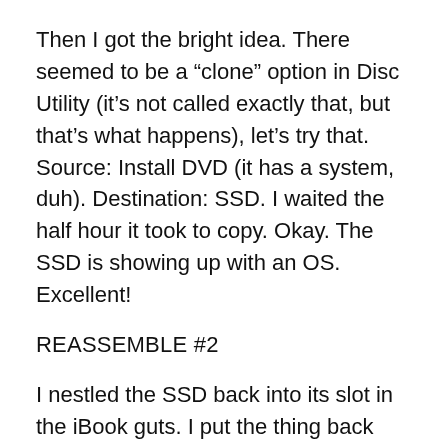Then I got the bright idea. There seemed to be a “clone” option in Disc Utility (it’s not called exactly that, but that’s what happens), let’s try that. Source: Install DVD (it has a system, duh). Destination: SSD. I waited the half hour it took to copy. Okay. The SSD is showing up with an OS. Excellent!
REASSEMBLE #2
I nestled the SSD back into its slot in the iBook guts. I put the thing back together. I pressed the power button. I watched the screen expectantly. Question Mark Flashing Folder of Uncertainty. Flash flash flash flash flash flash flash flash flash flash flash …
Ugh.
I once again consulted my genius boss and learned where